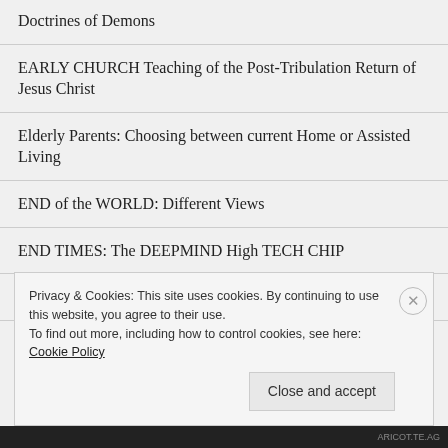Doctrines of Demons
EARLY CHURCH Teaching of the Post-Tribulation Return of Jesus Christ
Elderly Parents: Choosing between current Home or Assisted Living
END of the WORLD: Different Views
END TIMES: The DEEPMIND High TECH CHIP
End Times: Trump and Jerusalem
Privacy & Cookies: This site uses cookies. By continuing to use this website, you agree to their use.
To find out more, including how to control cookies, see here: Cookie Policy
Close and accept
ARICOT.TE.AG